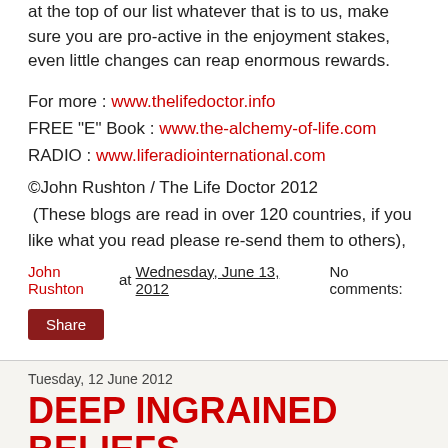at the top of our list whatever that is to us, make sure you are pro-active in the enjoyment stakes, even little changes can reap enormous rewards.
For more : www.thelifedoctor.info
FREE "E" Book : www.the-alchemy-of-life.com
RADIO : www.liferadiointernational.com
©John Rushton / The Life Doctor 2012
 (These blogs are read in over 120 countries, if you like what you read please re-send them to others),
John Rushton at Wednesday, June 13, 2012    No comments:
Share
Tuesday, 12 June 2012
DEEP INGRAINED BELIEFS
[Figure (photo): Dark background image with text reading: Don't change so people will like you.]